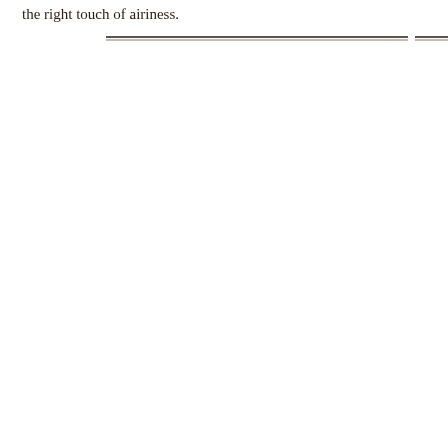the right touch of airiness.
[Figure (other): Two horizontal dark brown/black divider lines spanning the width of the page, with a small gap between them.]